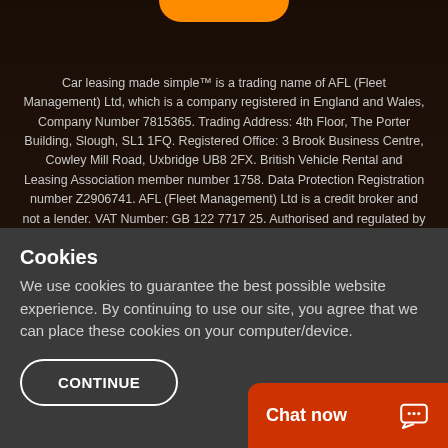[Figure (other): Orange rounded pill/blob shape partially visible at top of page, likely a logo or button]
Car leasing made simple™ is a trading name of AFL (Fleet Management) Ltd, which is a company registered in England and Wales, Company Number 7815365. Trading Address: 4th Floor, The Porter Building, Slough, SL1 1FQ. Registered Office: 3 Brook Business Centre, Cowley Mill Road, Uxbridge UB8 2FX. British Vehicle Rental and Leasing Association member number 1758. Data Protection Registration number Z2906741. AFL (Fleet Management) Ltd is a credit broker and not a lender. VAT Number: GB 122 7717 25. Authorised and regulated by the Financial Conduct Authority (FRN Number: 664440).
By supplying data to us you will provide information about yourself and others, defined under the General Data Protection Requirements...
Cookies
We use cookies to guarantee the best possible website experience. By continuing to use our site, you agree that we can place these cookies on your computer/device.
CONTINUE
Chat now